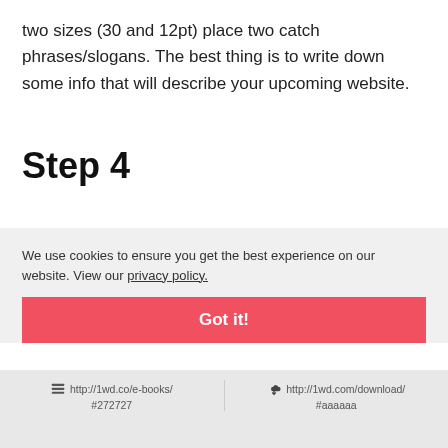two sizes (30 and 12pt) place two catch phrases/slogans. The best thing is to write down some info that will describe your upcoming website.
Step 4
We use cookies to ensure you get the best experience on our website. View our privacy policy.
Got it!
http://1wd.co/e-books/ #272727   http://1wd.com/download/ #aaaaaa